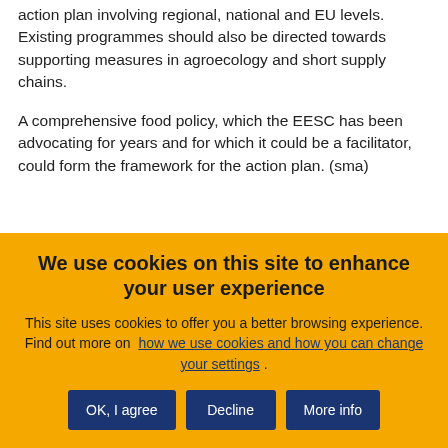action plan involving regional, national and EU levels. Existing programmes should also be directed towards supporting measures in agroecology and short supply chains.
A comprehensive food policy, which the EESC has been advocating for years and for which it could be a facilitator, could form the framework for the action plan. (sma)
We use cookies on this site to enhance your user experience
This site uses cookies to offer you a better browsing experience. Find out more on how we use cookies and how you can change your settings.